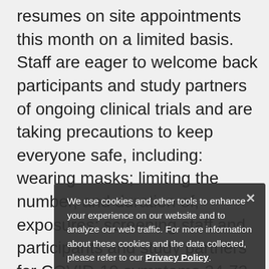resumes on site appointments this month on a limited basis. Staff are eager to welcome back participants and study partners of ongoing clinical trials and are taking precautions to keep everyone safe, including: wearing masks; limiting the number, and duration of, exposures; screening staff and participants and study partners for COVID-19 symptoms 24-72 hours prior to visits, and sanitizing exam and testing rooms before and after every visit. For a list of other precautions being taken at CART, see the attached document. Please see the Mass General Brigham commitment. Please see the Massachusetts Alzheimer Disease Research Center 2020 Newsletter for more information about Alzheimer research and our
We use cookies and other tools to enhance your experience on our website and to analyze our web traffic. For more information about these cookies and the data collected, please refer to our Privacy Policy.